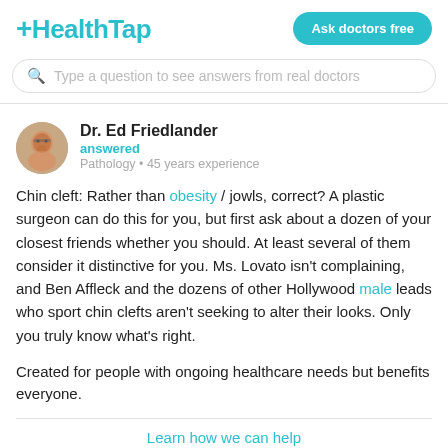+HealthTap | Ask doctors free
Type a question to see answers from real doctors
Dr. Ed Friedlander
answered
Pathology • 45 years experience
Chin cleft: Rather than obesity / jowls, correct? A plastic surgeon can do this for you, but first ask about a dozen of your closest friends whether you should. At least several of them consider it distinctive for you. Ms. Lovato isn't complaining, and Ben Affleck and the dozens of other Hollywood male leads who sport chin clefts aren't seeking to alter their looks. Only you truly know what's right.
Created for people with ongoing healthcare needs but benefits everyone.
Learn how we can help